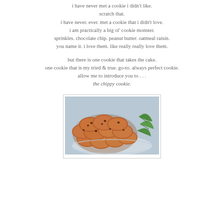i have never met a cookie i didn't like.
scratch that.
i have never. ever. met a cookie that i didn't love.
i am practically a big ol' cookie monster.
sprinkles. chocolate chip. peanut butter. oatmeal raisin.
you name it. i love them. like really really love them.

but there is one cookie that takes the cake.
one cookie that is my tried & true. go-to. always perfect cookie.
allow me to introduce you to . . .
the chippy cookie.
[Figure (photo): A plate of chocolate chip oatmeal cookies (chippy cookies) piled on a decorative dish with green leaves/sprigs visible on the right side.]